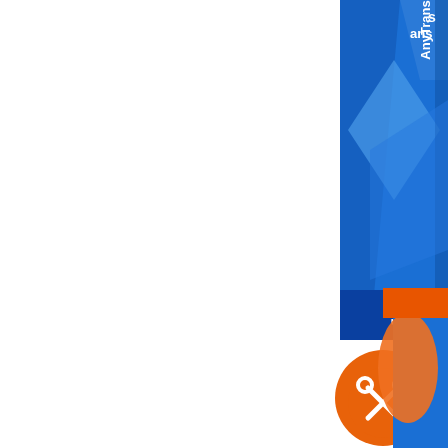[Figure (photo): Partial view of AnyTrans software product box with blue packaging, cropped to top-right corner]
$79.99 (strikethrough price)
[51% OFF] AnyTrans Discount code 🔥
↩ Offering By Imobie Coupon discount
[Figure (photo): Partial view of orange coupon/discount graphic in bottom-right corner]